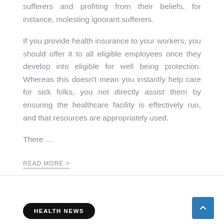sufferers and profiting from their beliefs, for instance, molesting ignorant sufferers.
If you provide health insurance to your workers, you should offer it to all eligible employees once they develop into eligible for well being protection. Whereas this doesn't mean you instantly help care for sick folks, you not directly assist them by ensuring the healthcare facility is effectively run, and that resources are appropriately used.
There …
READ MORE >
HEALTH NEWS